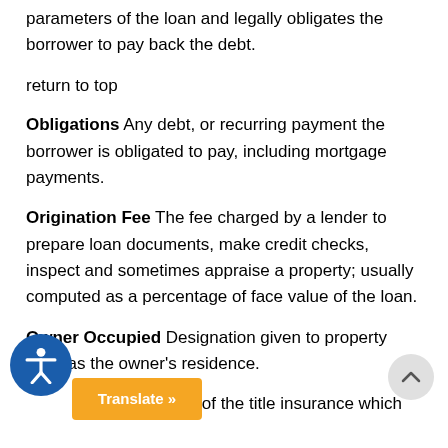parameters of the loan and legally obligates the borrower to pay back the debt.
return to top
Obligations Any debt, or recurring payment the borrower is obligated to pay, including mortgage payments.
Origination Fee The fee charged by a lender to prepare loan documents, make credit checks, inspect and sometimes appraise a property; usually computed as a percentage of face value of the loan.
Owner Occupied Designation given to property used as the owner's residence.
A policy of the title insurance which